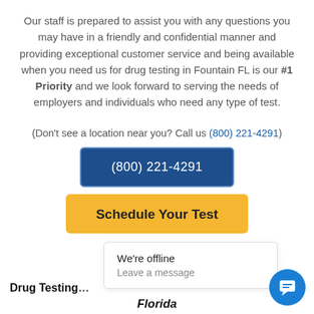Our staff is prepared to assist you with any questions you may have in a friendly and confidential manner and providing exceptional customer service and being available when you need us for drug testing in Fountain FL is our #1 Priority and we look forward to serving the needs of employers and individuals who need any type of test.
(Don't see a location near you? Call us (800) 221-4291)
(800) 221-4291
Schedule Your Test
Drug Testing ... a ...
Florida
[Figure (screenshot): Chat popup overlay showing 'We're offline' and 'Leave a message' with a blue circular chat button icon in the bottom right corner]